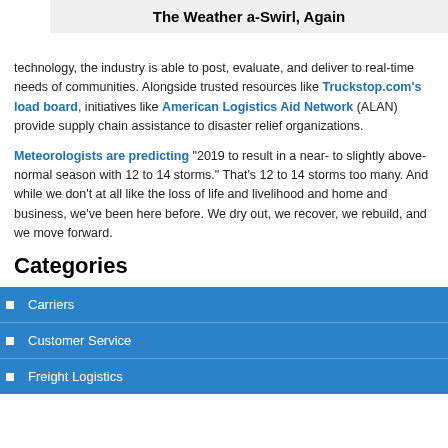The Weather a-Swirl, Again
technology, the industry is able to post, evaluate, and deliver to real-time needs of communities. Alongside trusted resources like Truckstop.com's load board, initiatives like American Logistics Aid Network (ALAN) provide supply chain assistance to disaster relief organizations.
Meteorologists are predicting “2019 to result in a near- to slightly above-normal season with 12 to 14 storms.” That’s 12 to 14 storms too many. And while we don’t at all like the loss of life and livelihood and home and business, we’ve been here before. We dry out, we recover, we rebuild, and we move forward.
Categories
Carriers
Customer Service
Freight Logistics